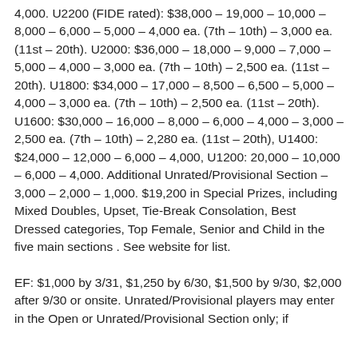4,000. U2200 (FIDE rated): $38,000 – 19,000 – 10,000 – 8,000 – 6,000 – 5,000 – 4,000 ea. (7th – 10th) – 3,000 ea. (11st – 20th). U2000: $36,000 – 18,000 – 9,000 – 7,000 – 5,000 – 4,000 – 3,000 ea. (7th – 10th) – 2,500 ea. (11st – 20th). U1800: $34,000 – 17,000 – 8,500 – 6,500 – 5,000 – 4,000 – 3,000 ea. (7th – 10th) – 2,500 ea. (11st – 20th). U1600: $30,000 – 16,000 – 8,000 – 6,000 – 4,000 – 3,000 – 2,500 ea. (7th – 10th) – 2,280 ea. (11st – 20th), U1400: $24,000 – 12,000 – 6,000 – 4,000, U1200: 20,000 – 10,000 – 6,000 – 4,000. Additional Unrated/Provisional Section – 3,000 – 2,000 – 1,000. $19,200 in Special Prizes, including Mixed Doubles, Upset, Tie-Break Consolation, Best Dressed categories, Top Female, Senior and Child in the five main sections . See website for list.
EF: $1,000 by 3/31, $1,250 by 6/30, $1,500 by 9/30, $2,000 after 9/30 or onsite. Unrated/Provisional players may enter in the Open or Unrated/Provisional Section only; if